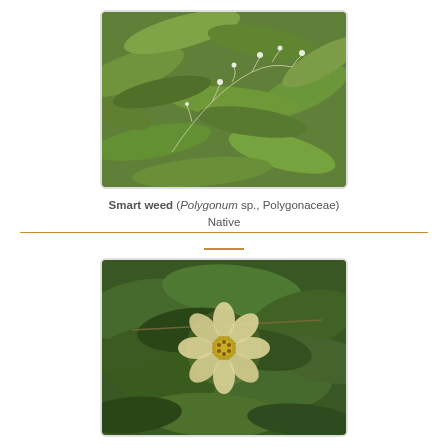[Figure (photo): Close-up photo of Smart weed plant (Polygonum sp.) with small white flowers against green leafy background]
Smart weed (Polygonum sp., Polygonaceae) Native
[Figure (photo): Close-up photo of Common wireweed / common fanpetals (Sida ulmifolia) showing a pale yellow flower with multiple petals among green leaves]
Common wireweed, common fanpetals (Sida ulmifolia, Malvaceae) Native